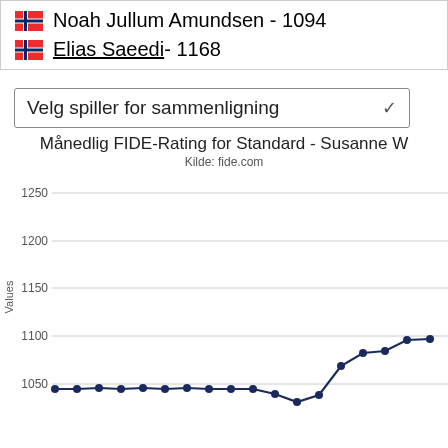Noah Jullum Amundsen - 1094
Elias Saeedi - 1168
Velg spiller for sammenligning
Månedlig FIDE-Rating for Standard - Susanne W
Kilde: fide.com
[Figure (line-chart): Line chart showing monthly FIDE rating for Standard. Y-axis ranges from approximately 1030 to 1250 with gridlines at 1050, 1100, 1150, 1200, 1250. The line starts flat around 1035, stays level across many months, then dips slightly, then rises sharply to about 1070, then continues rising to about 1080-1090 at the rightmost visible points.]